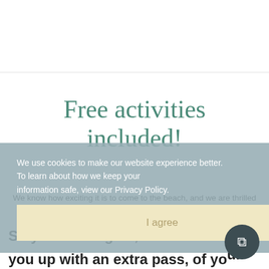Free activities included!
We know how exciting it is to come to the beach, and we are thrilled to offer you free activities with your stay so you can get out and experience the Emerald Coast like a local.
We use cookies to make our website experience better. To learn about how we keep your information safe, view our Privacy Policy.
I agree
Stay with us again, and we'll hook you up with an extra pass, of your choice, to any activity!